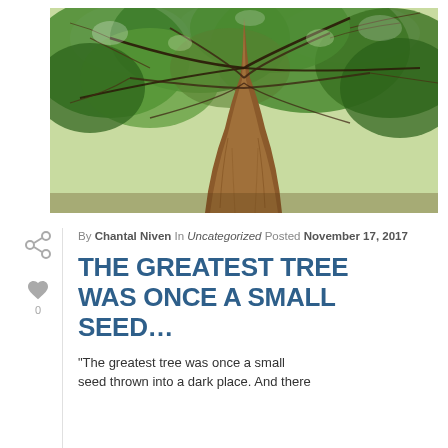[Figure (photo): Upward view of a tall tree trunk with branches spreading out against a bright green canopy sky]
By Chantal Niven In Uncategorized Posted November 17, 2017
THE GREATEST TREE WAS ONCE A SMALL SEED...
"The greatest tree was once a small seed thrown into a dark place. And there